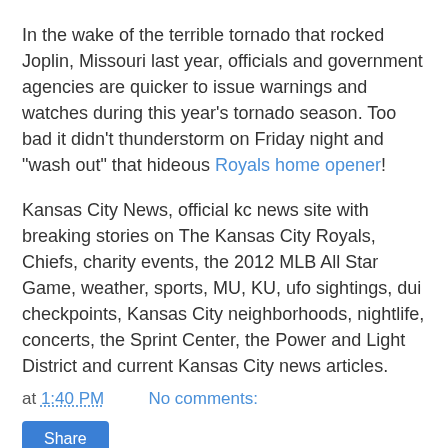In the wake of the terrible tornado that rocked Joplin, Missouri last year, officials and government agencies are quicker to issue warnings and watches during this year's tornado season.  Too bad it didn't thunderstorm on Friday night and "wash out" that hideous Royals home opener!
Kansas City News, official kc news site with breaking stories on The Kansas City Royals, Chiefs, charity events, the 2012 MLB All Star Game, weather, sports, MU, KU, ufo sightings, dui checkpoints, Kansas City neighborhoods, nightlife, concerts, the Sprint Center, the Power and Light District and current Kansas City news articles.
at 1:40 PM   No comments:
Share
Saturday, April 14, 2012
X Factor Auditions Kansas City now